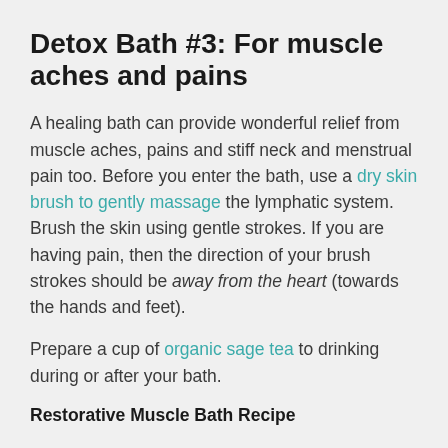Detox Bath #3: For muscle aches and pains
A healing bath can provide wonderful relief from muscle aches, pains and stiff neck and menstrual pain too. Before you enter the bath, use a dry skin brush to gently massage the lymphatic system. Brush the skin using gentle strokes. If you are having pain, then the direction of your brush strokes should be away from the heart (towards the hands and feet).
Prepare a cup of organic sage tea to drinking during or after your bath.
Restorative Muscle Bath Recipe